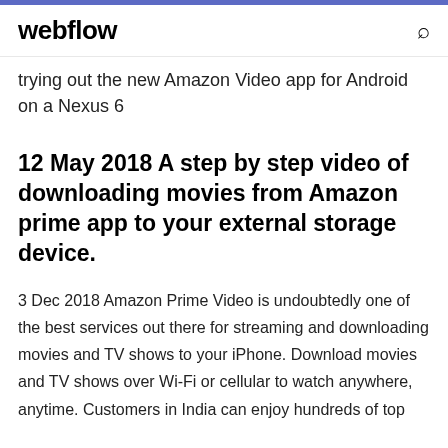webflow
trying out the new Amazon Video app for Android on a Nexus 6
12 May 2018 A step by step video of downloading movies from Amazon prime app to your external storage device.
3 Dec 2018 Amazon Prime Video is undoubtedly one of the best services out there for streaming and downloading movies and TV shows to your iPhone. Download movies and TV shows over Wi-Fi or cellular to watch anywhere, anytime. Customers in India can enjoy hundreds of top